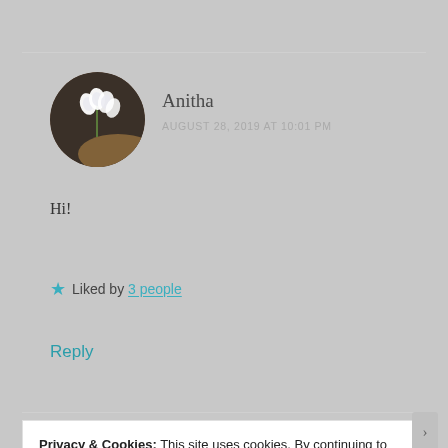[Figure (photo): Circular avatar photo showing white bleeding heart flowers with dark background]
Anitha
AUGUST 28, 2019 AT 10:01 PM
Hi!
★ Liked by 3 people
Reply
Privacy & Cookies: This site uses cookies. By continuing to use this website, you agree to their use.
To find out more, including how to control cookies, see here: Cookie Policy
Close and accept